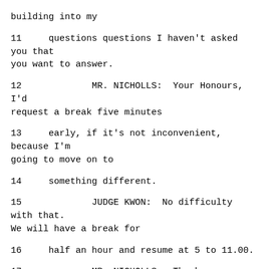building into my
11     questions questions I haven't asked you that you want to answer.
12             MR. NICHOLLS:  Your Honours, I'd request a break five minutes
13     early, if it's not inconvenient, because I'm going to move on to
14     something different.
15             JUDGE KWON:  No difficulty with that. We will have a break for
16     half an hour and resume at 5 to 11.00.
17             MR. NICHOLLS:  Thank you.